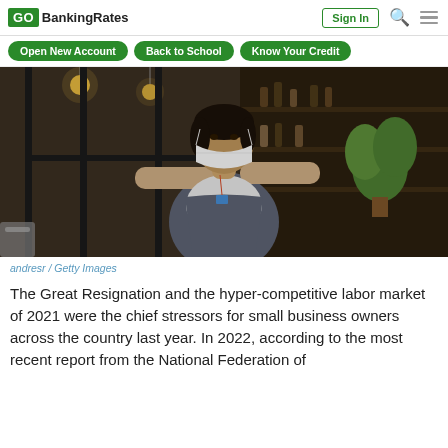GO BankingRates | Sign In
Open New Account
Back to School
Know Your Credit
[Figure (photo): A restaurant worker wearing a mask and apron opening a glass door, bar interior visible in background with plants and bottles]
andresr / Getty Images
The Great Resignation and the hyper-competitive labor market of 2021 were the chief stressors for small business owners across the country last year. In 2022, according to the most recent report from the National Federation of